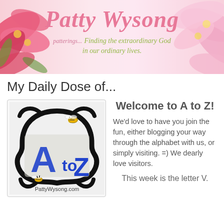[Figure (illustration): Blog header banner for Patty Wysong with pink flowers on left and right, showing the blog name 'Patty Wysong' in pink script, subtitle 'patterings... Finding the extraordinary God in our ordinary lives.' in olive/green italic text]
My Daily Dose of...
[Figure (logo): A to Z blog logo with decorative black swirl frame, bees, blue letters A and Z with 'to' in between, and 'PattyWysong.com' text at bottom]
Welcome to A to Z!
We'd love to have you join the fun, either blogging your way through the alphabet with us, or simply visiting. =) We dearly love visitors.

This week is the letter V.